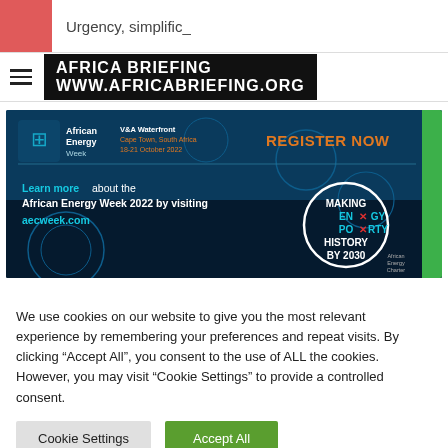Urgency, simplific_
[Figure (logo): Africa Briefing logo with hamburger menu icon]
[Figure (illustration): African Energy Week 2022 advertisement banner. V&A Waterfront, Cape Town, South Africa, 18-21 October 2022. Register Now. Learn more about the African Energy Week 2022 by visiting aecweek.com. Making Energy Poverty History by 2030.]
We use cookies on our website to give you the most relevant experience by remembering your preferences and repeat visits. By clicking “Accept All”, you consent to the use of ALL the cookies. However, you may visit "Cookie Settings" to provide a controlled consent.
Cookie Settings | Accept All